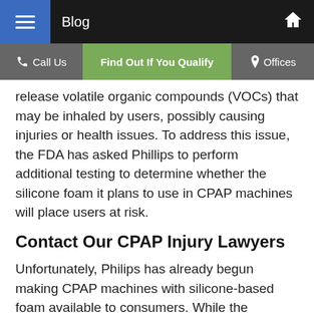Blog
Call Us | Find Out If You Qualify | Offices
release volatile organic compounds (VOCs) that may be inhaled by users, possibly causing injuries or health issues. To address this issue, the FDA has asked Phillips to perform additional testing to determine whether the silicone foam it plans to use in CPAP machines will place users at risk.
Contact Our CPAP Injury Lawyers
Unfortunately, Philips has already begun making CPAP machines with silicone-based foam available to consumers. While the company may perform tests to determine whether there are any risks, it is understandable if consumers do not trust that the